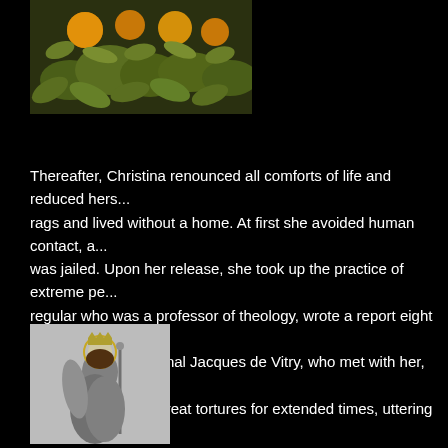[Figure (illustration): Colorful illustration of plants with orange/yellow fruits and green leaves against a dark background]
Thereafter, Christina renounced all comforts of life and reduced hers... rags and lived without a home. At first she avoided human contact, a... was jailed. Upon her release, she took up the practice of extreme pe... regular who was a professor of theology, wrote a report eight years a... who knew her. Cardinal Jacques de Vitry, who met with her, said tha... furnaces, suffering great tortures for extended times, uttering frightful... upon her. In winter she would plunge into the frozen Meuse River fo... the while praying to God and imploring God's mercy. She sometimess... currents downriver to a mill where the wheel "whirled her round in a n... suffered any dislocations or broken bones. She was sometimes chas...
[Figure (illustration): Black and white engraving of a female saint or noble woman with a halo, crown, and staff/scepter]